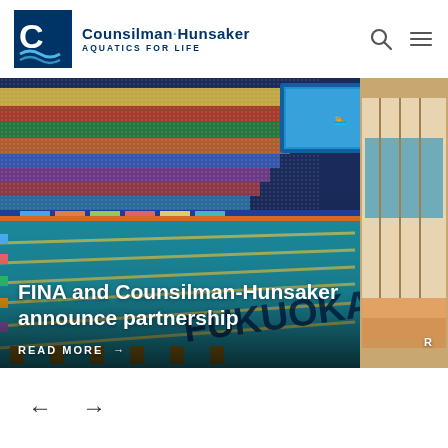Counsilman·Hunsaker AQUATICS FOR LIFE
[Figure (photo): Aerial view of a large competitive swimming pool at the Fukuoka World Championships arena, with colorful crowded spectator stands surrounding the pool, lane lines visible, with branding 'FUKUOKA' on the pool deck border. A partial second image is visible on the right side showing an indoor swimming facility.]
FINA and Counsilman-Hunsaker announce partnership
READ MORE →
R